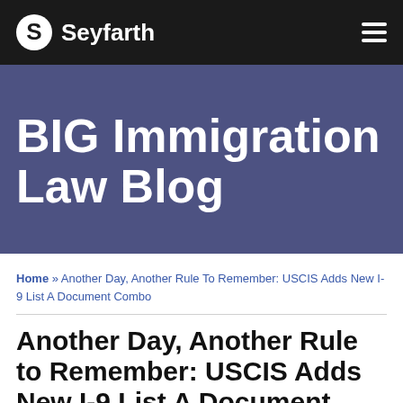Seyfarth
BIG Immigration Law Blog
Home » Another Day, Another Rule To Remember: USCIS Adds New I-9 List A Document Combo
Another Day, Another Rule to Remember: USCIS Adds New I-9 List A Document Combo